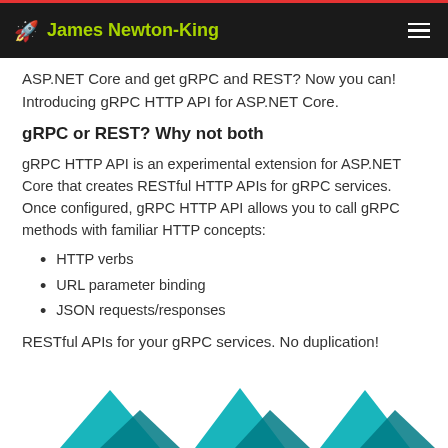James Newton-King
ASP.NET Core and get gRPC and REST? Now you can! Introducing gRPC HTTP API for ASP.NET Core.
gRPC or REST? Why not both
gRPC HTTP API is an experimental extension for ASP.NET Core that creates RESTful HTTP APIs for gRPC services. Once configured, gRPC HTTP API allows you to call gRPC methods with familiar HTTP concepts:
HTTP verbs
URL parameter binding
JSON requests/responses
RESTful APIs for your gRPC services. No duplication!
[Figure (logo): ASP.NET Core and gRPC logos partially visible at bottom of page]